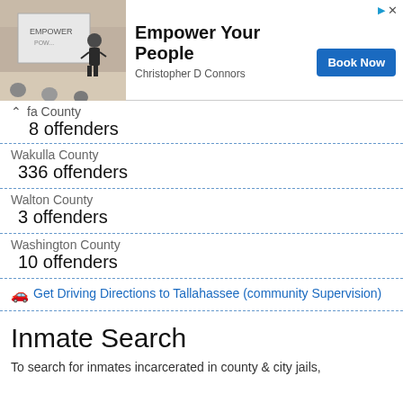[Figure (screenshot): Advertisement banner: 'Empower Your People' by Christopher D Connors with Book Now button and a photo of a speaker presenting]
fa County
8 offenders
Wakulla County
336 offenders
Walton County
3 offenders
Washington County
10 offenders
Get Driving Directions to Tallahassee (community Supervision)
Inmate Search
To search for inmates incarcerated in county & city jails,